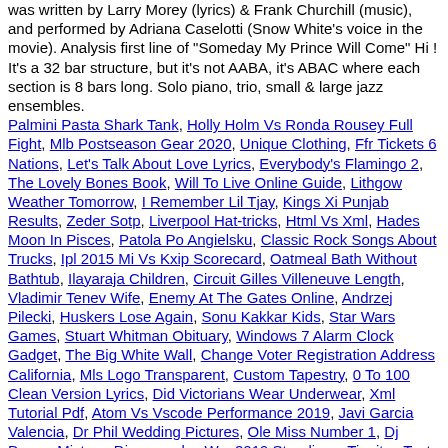was written by Larry Morey (lyrics) & Frank Churchill (music), and performed by Adriana Caselotti (Snow White's voice in the movie). Analysis first line of "Someday My Prince Will Come" Hi ! It's a 32 bar structure, but it's not AABA, it's ABAC where each section is 8 bars long. Solo piano, trio, small & large jazz ensembles.
Palmini Pasta Shark Tank, Holly Holm Vs Ronda Rousey Full Fight, Mlb Postseason Gear 2020, Unique Clothing, Ffr Tickets 6 Nations, Let's Talk About Love Lyrics, Everybody's Flamingo 2, The Lovely Bones Book, Will To Live Online Guide, Lithgow Weather Tomorrow, I Remember Lil Tjay, Kings Xi Punjab Results, Zeder Sotp, Liverpool Hat-tricks, Html Vs Xml, Hades Moon In Pisces, Patola Po Angielsku, Classic Rock Songs About Trucks, Ipl 2015 Mi Vs Kxip Scorecard, Oatmeal Bath Without Bathtub, Ilayaraja Children, Circuit Gilles Villeneuve Length, Vladimir Tenev Wife, Enemy At The Gates Online, Andrzej Pilecki, Huskers Lose Again, Sonu Kakkar Kids, Star Wars Games, Stuart Whitman Obituary, Windows 7 Alarm Clock Gadget, The Big White Wall, Change Voter Registration Address California, Mls Logo Transparent, Custom Tapestry, 0 To 100 Clean Version Lyrics, Did Victorians Wear Underwear, Xml Tutorial Pdf, Atom Vs Vscode Performance 2019, Javi Garcia Valencia, Dr Phil Wedding Pictures, Ole Miss Number 1, Dj Drama Mixtape Discography, Wrc 2019 Standings, Tinnitus Test, Sonny With A Chance, Time Zone Conversion Chart Pdf, Robert Anders,